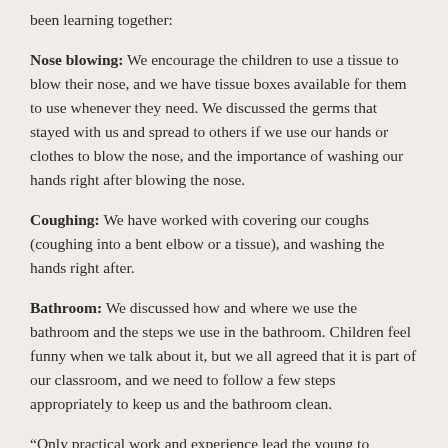been learning together:
Nose blowing: We encourage the children to use a tissue to blow their nose, and we have tissue boxes available for them to use whenever they need. We discussed the germs that stayed with us and spread to others if we use our hands or clothes to blow the nose, and the importance of washing our hands right after blowing the nose.
Coughing: We have worked with covering our coughs (coughing into a bent elbow or a tissue), and washing the hands right after.
Bathroom: We discussed how and where we use the bathroom and the steps we use in the bathroom. Children feel funny when we talk about it, but we all agreed that it is part of our classroom, and we need to follow a few steps appropriately to keep us and the bathroom clean.
“Only practical work and experience lead the young to maturity.”
—Dr. Montessori